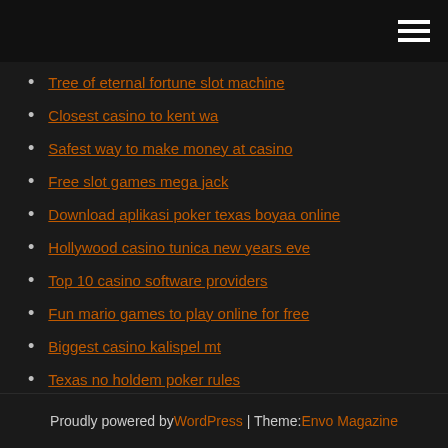[hamburger menu icon]
Tree of eternal fortune slot machine
Closest casino to kent wa
Safest way to make money at casino
Free slot games mega jack
Download aplikasi poker texas boyaa online
Hollywood casino tunica new years eve
Top 10 casino software providers
Fun mario games to play online for free
Biggest casino kalispel mt
Texas no holdem poker rules
Patin a roulette pas cher adulte
Proudly powered by WordPress | Theme: Envo Magazine